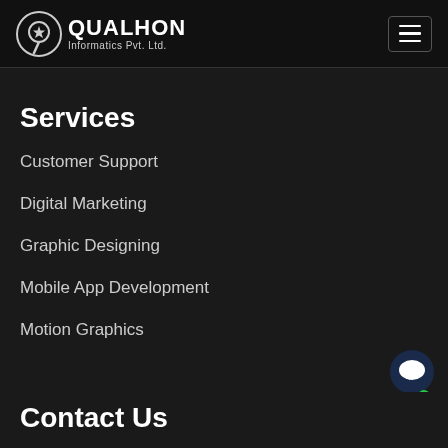Qualhon Informatics Pvt. Ltd.
Services
Customer Support
Digital Marketing
Graphic Designing
Mobile App Development
Motion Graphics
Contact Us